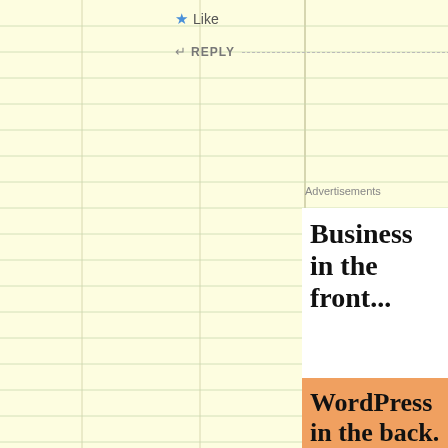[Figure (screenshot): WordPress advertisement showing 'Business in the front... WordPress in the back.' text on white and orange background]
Like
REPLY
Advertisements
[Figure (screenshot): DuckDuckGo advertisement banner showing 'Search, browse, and email with more privacy. All in One Free App' with DuckDuckGo logo and phone mockup on orange-red background]
Advertisements